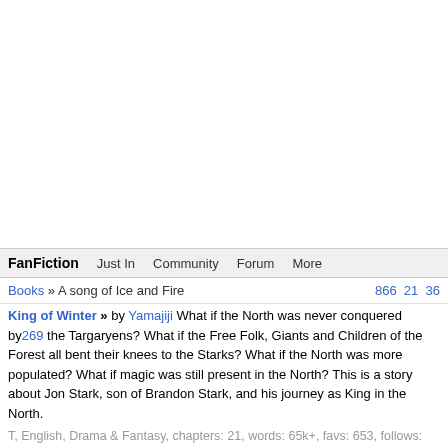FanFiction   Just In   Community   Forum   More
Books » A song of Ice and Fire   866 21 36
King of Winter » by Yamajiji What if the North was never conquered by 269 the Targaryens? What if the Free Folk, Giants and Children of the Forest all bent their knees to the Starks? What if the North was more populated? What if magic was still present in the North? This is a story about Jon Stark, son of Brandon Stark, and his journey as King in the North.
T, English, Drama & Fantasy, chapters: 21, words: 65k+, favs: 653, follows: 830, updated: Oct 2, 2021 published: Jun 5, 2021, [Jon S., Margaery T.] Daenerys T./Dany, Tyrion L.